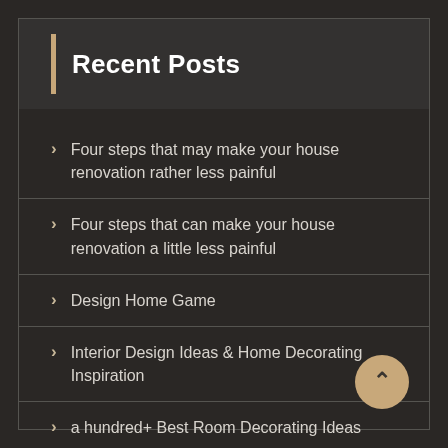Recent Posts
Four steps that may make your house renovation rather less painful
Four steps that can make your house renovation a little less painful
Design Home Game
Interior Design Ideas & Home Decorating Inspiration
a hundred+ Best Room Decorating Ideas